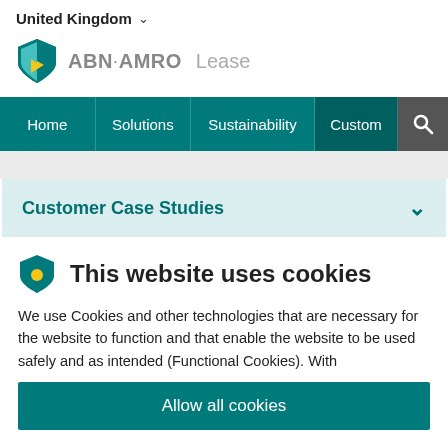United Kingdom ∨
[Figure (logo): ABN AMRO Lease logo with teal and yellow shield icon]
[Figure (screenshot): Navigation bar with Home, Solutions, Sustainability, Custom(ers) menu items and search icon on teal background]
Customer Case Studies
This website uses cookies
We use Cookies and other technologies that are necessary for the website to function and that enable the website to be used safely and as intended (Functional Cookies). With
Allow all cookies